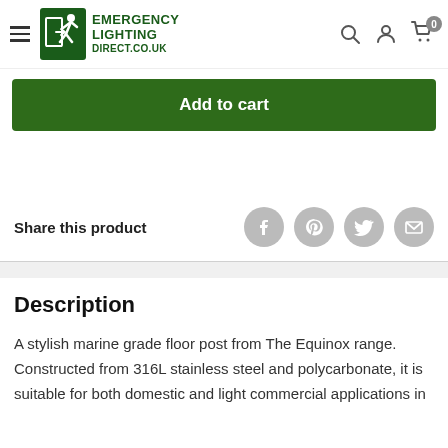Emergency Lighting Direct.co.uk
Add to cart
Share this product
Description
A stylish marine grade floor post from The Equinox range. Constructed from 316L stainless steel and polycarbonate, it is suitable for both domestic and light commercial applications in